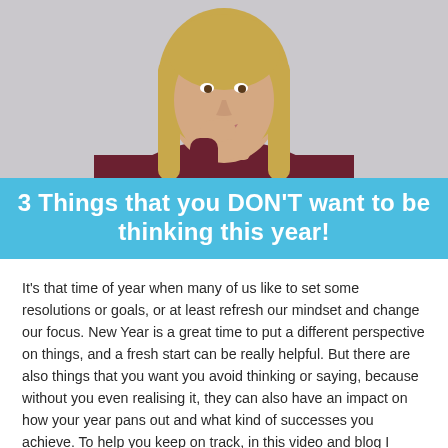[Figure (photo): A blonde woman wearing a dark burgundy top, resting her chin on her hand in a thoughtful pose, photographed against a light grey background.]
3 Things that you DON'T want to be thinking this year!
It's that time of year when many of us like to set some resolutions or goals, or at least refresh our mindset and change our focus. New Year is a great time to put a different perspective on things, and a fresh start can be really helpful. But there are also things that you want you avoid thinking or saying, because without you even realising it, they can also have an impact on how your year pans out and what kind of successes you achieve. To help you keep on track, in this video and blog I share 3 things that you don't want to be thinking this year…